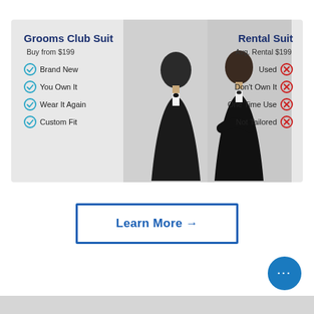[Figure (infographic): Comparison panel showing two men in suits, split into left (Grooms Club Suit) and right (Rental Suit) columns with feature lists]
Grooms Club Suit
Buy from $199
Brand New
You Own It
Wear It Again
Custom Fit
Rental Suit
Avg. Rental $199
Used
Don't Own It
One Time Use
Not Tailored
Learn More →